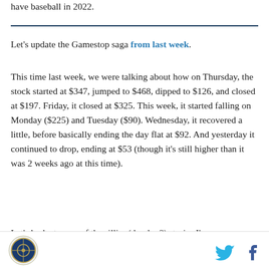have baseball in 2022.
Let's update the Gamestop saga from last week.
This time last week, we were talking about how on Thursday, the stock started at $347, jumped to $468, dipped to $126, and closed at $197. Friday, it closed at $325. This week, it started falling on Monday ($225) and Tuesday ($90). Wednesday, it recovered a little, before basically ending the day flat at $92. And yesterday it continued to drop, ending at $53 (though it's still higher than it was 2 weeks ago at this time).
Let's look at some of the sillier (dumber?) stories I've